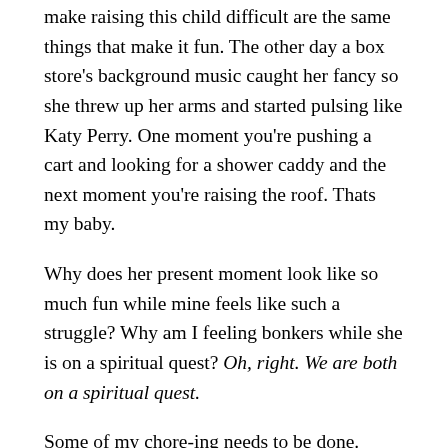make raising this child difficult are the same things that make it fun. The other day a box store's background music caught her fancy so she threw up her arms and started pulsing like Katy Perry. One moment you're pushing a cart and looking for a shower caddy and the next moment you're raising the roof. Thats my baby.
Why does her present moment look like so much fun while mine feels like such a struggle? Why am I feeling bonkers while she is on a spiritual quest? Oh, right. We are both on a spiritual quest.
Some of my chore-ing needs to be done. Actually it all needs to get done, and with our slow progress there is good reason for me to keep working. But in part my busy-ness is about my wanting to finish something to have as if it is the other half of it.